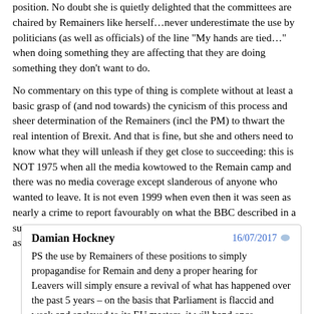position. No doubt she is quietly delighted that the committees are chaired by Remainers like herself…never underestimate the use by politicians (as well as officials) of the line "My hands are tied…" when doing something they are affecting that they are doing something they don't want to do.
No commentary on this type of thing is complete without at least a basic grasp of (and nod towards) the cynicism of this process and sheer determination of the Remainers (incl the PM) to thwart the real intention of Brexit. And that is fine, but she and others need to know what they will unleash if they get close to succeeding: this is NOT 1975 when all the media kowtowed to the Remain camp and there was no media coverage except slanderous of anyone who wanted to leave. It is not even 1999 when even then it was seen as nearly a crime to report favourably on what the BBC described in a supposedly neutral statement about those who want to leave the EU as "isolationists wanting to cut the UK off from the world".
Damian Hockney — 16/07/2017
PS the use by Remainers of these positions to simply propagandise for Remain and deny a proper hearing for Leavers will simply ensure a revival of what has happened over the past 5 years – on the basis that Parliament is flaccid and weak and enslaved to its EU masters, it will hand once